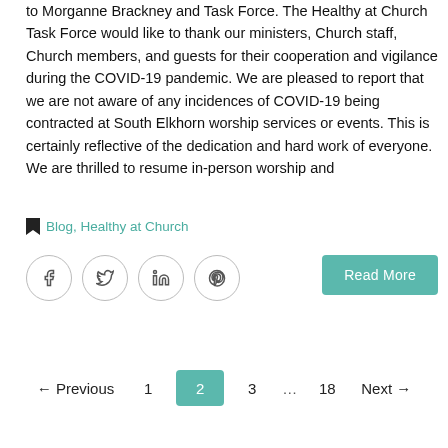to Morganne Brackney and Task Force. The Healthy at Church Task Force would like to thank our ministers, Church staff, Church members, and guests for their cooperation and vigilance during the COVID-19 pandemic. We are pleased to report that we are not aware of any incidences of COVID-19 being contracted at South Elkhorn worship services or events. This is certainly reflective of the dedication and hard work of everyone. We are thrilled to resume in-person worship and
Blog, Healthy at Church
[Figure (other): Social share buttons: Facebook, Twitter, LinkedIn, Pinterest circles with icons]
Read More
← Previous  1  2  3  …  18  Next →